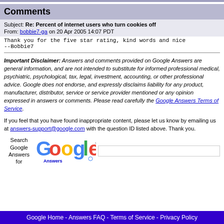Comments
Subject: Re: Percent of internet users who turn cookies off
From: bobbie7-ga on 20 Apr 2005 14:07 PDT
Thank you for the five star rating, kind words and nice
--Bobbie7
Important Disclaimer: Answers and comments provided on Google Answers are general information, and are not intended to substitute for informed professional medical, psychiatric, psychological, tax, legal, investment, accounting, or other professional advice. Google does not endorse, and expressly disclaims liability for any product, manufacturer, distributor, service or service provider mentioned or any opinion expressed in answers or comments. Please read carefully the Google Answers Terms of Service.
If you feel that you have found inappropriate content, please let us know by emailing us at answers-support@google.com with the question ID listed above. Thank you.
[Figure (logo): Google Answers logo with colorful Google text and 'Answers' below]
Google Home - Answers FAQ - Terms of Service - Privacy Policy